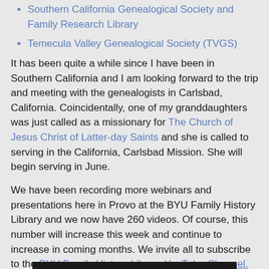Southern California Genealogical Society and Family Research Library
Temecula Valley Genealogical Society (TVGS)
It has been quite a while since I have been in Southern California and I am looking forward to the trip and meeting with the genealogists in Carlsbad, California. Coincidentally, one of my granddaughters was just called as a missionary for The Church of Jesus Christ of Latter-day Saints and she is called to serving in the California, Carlsbad Mission. She will begin serving in June.
We have been recording more webinars and presentations here in Provo at the BYU Family History Library and we now have 260 videos. Of course, this number will increase this week and continue to increase in coming months. We invite all to subscribe to the BYU Family History Library YouTube Channel. We now have 3,610 subscribers and the number is rapidly growing. We have loaded six new videos in the past week. Here are a few of the new offerings.